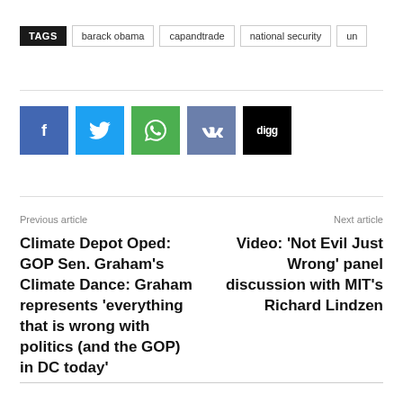TAGS  barack obama  capandtrade  national security  un
[Figure (infographic): Row of social share buttons: Facebook (blue), Twitter (light blue), WhatsApp (green), VK (slate blue), Digg (black)]
Previous article
Next article
Climate Depot Oped: GOP Sen. Graham's Climate Dance: Graham represents 'everything that is wrong with politics (and the GOP) in DC today'
Video: 'Not Evil Just Wrong' panel discussion with MIT's Richard Lindzen